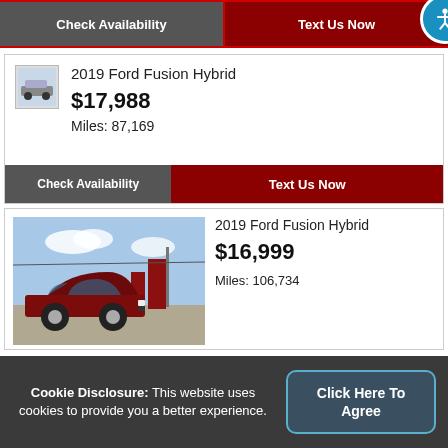[Figure (screenshot): Partial car photo at top (cropped)]
Check Availability
Text Us Now
2019 Ford Fusion Hybrid
$17,988
Miles: 87,169
Check Availability
Text Us Now
[Figure (photo): 2019 Ford Fusion Hybrid dark red car parked in a lot with a dealership sign in background]
2019 Ford Fusion Hybrid
$16,999
Miles: 106,734
Cookie Disclosure: This website uses cookies to provide you a better experience.
Click Here To Agree